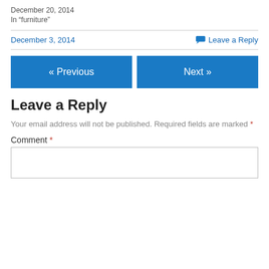December 20, 2014
In “furniture”
December 3, 2014
Leave a Reply
« Previous
Next »
Leave a Reply
Your email address will not be published. Required fields are marked *
Comment *